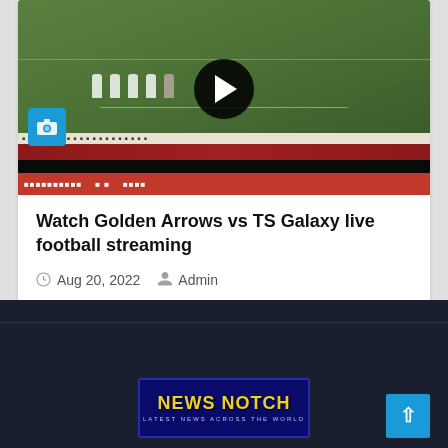[Figure (screenshot): Video thumbnail of a football match with a play button overlay and camera icon, showing players on a green field with advertising boards]
Watch Golden Arrows vs TS Galaxy live football streaming
Aug 20, 2022  Admin
[Figure (logo): News Notch logo - Latest News Across The World, dark blue background with yellow text]
[Figure (other): Scroll to top button - cyan/blue square with upward arrow]